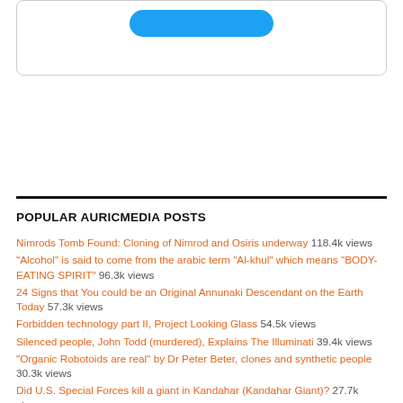[Figure (other): Partial UI box with a blue button at top]
POPULAR AURICMEDIA POSTS
Nimrods Tomb Found: Cloning of Nimrod and Osiris underway 118.4k views
"Alcohol" is said to come from the arabic term "Al-khul" which means "BODY-EATING SPIRIT" 96.3k views
24 Signs that You could be an Original Annunaki Descendant on the Earth Today 57.3k views
Forbidden technology part II, Project Looking Glass 54.5k views
Silenced people, John Todd (murdered), Explains The Illuminati 39.4k views
"Organic Robotoids are real" by Dr Peter Beter, clones and synthetic people 30.3k views
Did U.S. Special Forces kill a giant in Kandahar (Kandahar Giant)? 27.7k views
Beware of sexually transmitted demons 22.7k views
Breaking News! The C.I.A. N.S.A. Darpa N.A.S.A. Nazi Secret Exposed 16.5k views